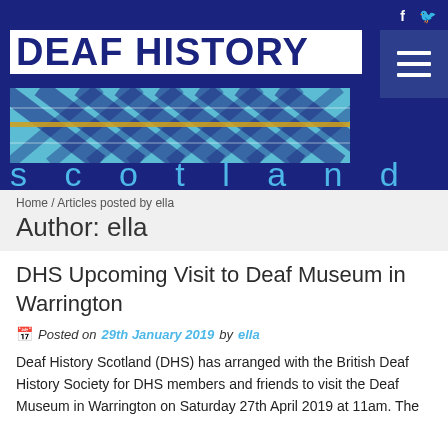[Figure (logo): Deaf History Scotland logo with tartan pattern and dark blue header bar with social media icons and hamburger menu]
Home / Articles posted by ella
Author: ella
DHS Upcoming Visit to Deaf Museum in Warrington
Posted on 29th January 2019 by ella
Deaf History Scotland (DHS) has arranged with the British Deaf History Society for DHS members and friends to visit the Deaf Museum in Warrington on Saturday 27th April 2019 at 11am. The